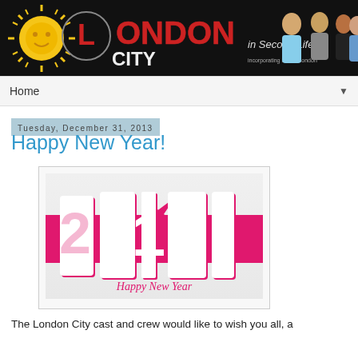[Figure (illustration): London City in Second Life banner with logo, text and avatar characters]
Home ▼
Tuesday, December 31, 2013
Happy New Year!
[Figure (illustration): 3D graphic showing '2014!' in large white letters on a pink background with 'Happy New Year' text below]
The London City cast and crew would like to wish you all, a